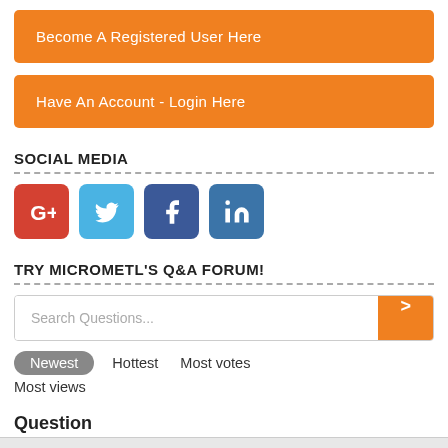Become A Registered User Here
Have An Account - Login Here
SOCIAL MEDIA
[Figure (illustration): Four social media icons: Google+, Twitter, Facebook, LinkedIn]
TRY MICROMETL'S Q&A FORUM!
Search Questions...
Newest  Hottest  Most votes  Most views
Question